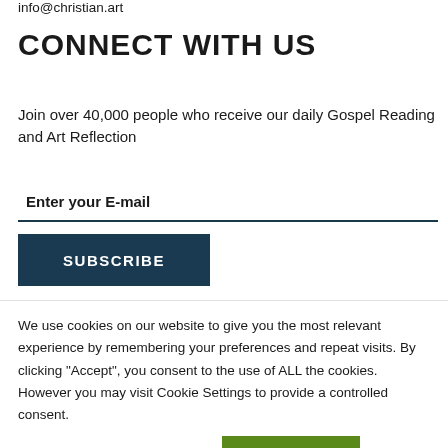info@christian.art
CONNECT WITH US
Join over 40,000 people who receive our daily Gospel Reading and Art Reflection
Enter your E-mail
SUBSCRIBE
We use cookies on our website to give you the most relevant experience by remembering your preferences and repeat visits. By clicking “Accept”, you consent to the use of ALL the cookies. However you may visit Cookie Settings to provide a controlled consent.
Cookie settings
ACCEPT